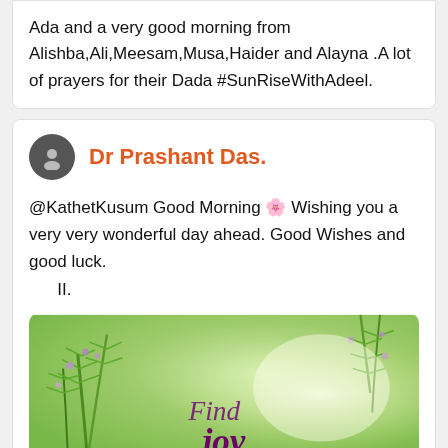Ada and a very good morning from Alishba,Ali,Meesam,Musa,Haider and Alayna .A lot of prayers for their Dada #SunRiseWithAdeel.
Dr Prashant Das.
@KathetKusum Good Morning 🌸 Wishing you a very very wonderful day ahead. Good Wishes and good luck.
      II.
[Figure (photo): Nature photo showing green plants with small purple flowers against a blurred green background. Text overlay reads 'Find Joy' in purple italic script font.]